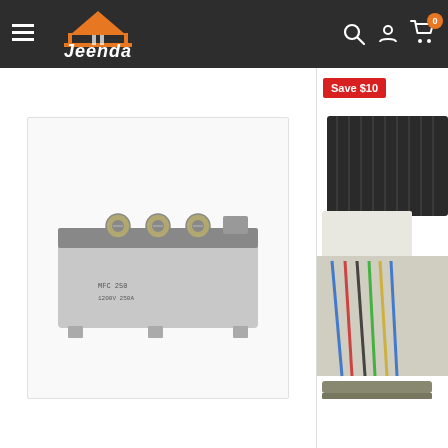[Figure (screenshot): Jeenda e-commerce website navigation bar with hamburger menu, Jeenda logo with orange triangle bridge icon, search icon, user account icon, and shopping cart with badge showing 0]
[Figure (photo): Electronic component - power module/rectifier bridge with screw terminals on top, gray body, on white background]
Save $10
[Figure (photo): Partially visible electronic component with wiring harness and dark housing on right side panel]